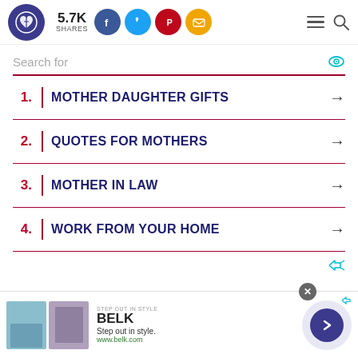5.7K SHARES — social sharing header with logo
Search for
1. MOTHER DAUGHTER GIFTS
2. QUOTES FOR MOTHERS
3. MOTHER IN LAW
4. WORK FROM YOUR HOME
[Figure (screenshot): Advertisement banner for BELK — Step out in style. www.belk.com]
BELK — Step out in style. www.belk.com